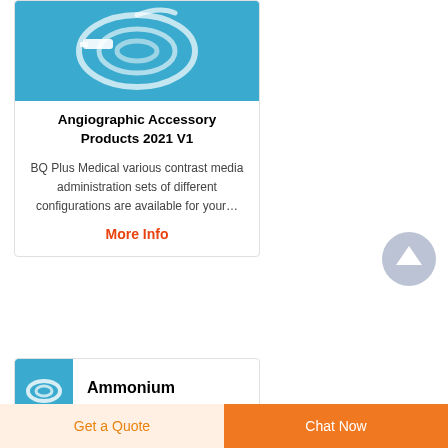[Figure (photo): Medical IV tubing / angiographic administration set coiled on a blue background, product catalog photo]
Angiographic Accessory Products 2021 V1
BQ Plus Medical various contrast media administration sets of different configurations are available for your…
More Info
[Figure (photo): Small product thumbnail image on blue background showing medical tubing]
Ammonium
Get a Quote
Chat Now